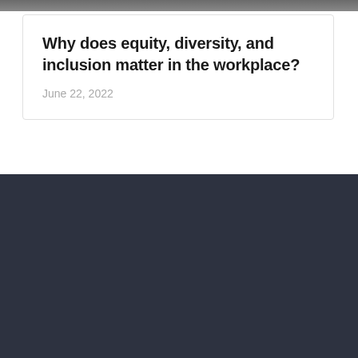[Figure (photo): Dark photograph strip at the top of the page]
Why does equity, diversity, and inclusion matter in the workplace?
June 22, 2022
[Figure (logo): The Job Shoppe logo — circle outline in red/coral with 'the job shoppe' text, 'job' in red italic serif, rest in white]
Matching skilled candidates with leading companies
Call US